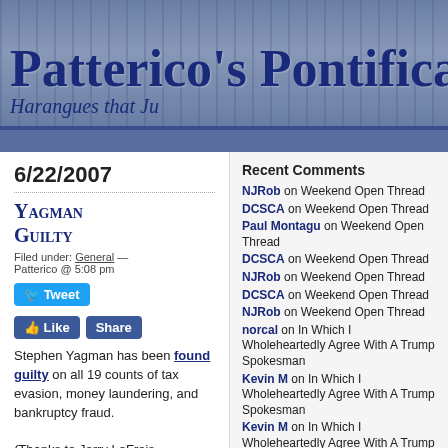Patterico's Pontificat... — Harangues that Ju...
6/22/2007
Yagman Guilty
Filed under: General — Patterico @ 5:08 pm
Stephen Yagman has been found guilty on all 19 counts of tax evasion, money laundering, and bankruptcy fraud.
(Thanks to Jerry LeFrois
Recent Comments
NJRob on Weekend Open Thread
DCSCA on Weekend Open Thread
Paul Montagu on Weekend Open Thread
DCSCA on Weekend Open Thread
NJRob on Weekend Open Thread
DCSCA on Weekend Open Thread
NJRob on Weekend Open Thread
norcal on In Which I Wholeheartedly Agree With A Trump Spokesman
Kevin M on In Which I Wholeheartedly Agree With A Trump Spokesman
Kevin M on In Which I Wholeheartedly Agree With A Trump Spokesman
SEARCH AMAZON USING THIS SEARCH BOX: